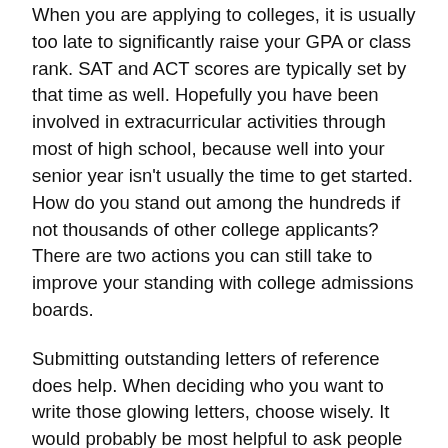When you are applying to colleges, it is usually too late to significantly raise your GPA or class rank. SAT and ACT scores are typically set by that time as well. Hopefully you have been involved in extracurricular activities through most of high school, because well into your senior year isn't usually the time to get started. How do you stand out among the hundreds if not thousands of other college applicants? There are two actions you can still take to improve your standing with college admissions boards.
Submitting outstanding letters of reference does help. When deciding who you want to write those glowing letters, choose wisely. It would probably be most helpful to ask people that have you seen you at your best. Maybe you can ask a teacher, employer, or an adult heading a community organization you have been involved with.
How else can you improve your application? Sell yourself and your wonderful attributes through a well written and carefully thought out college admissions essays. A good essay can answer any questions raised by an application form. More importantly, essays